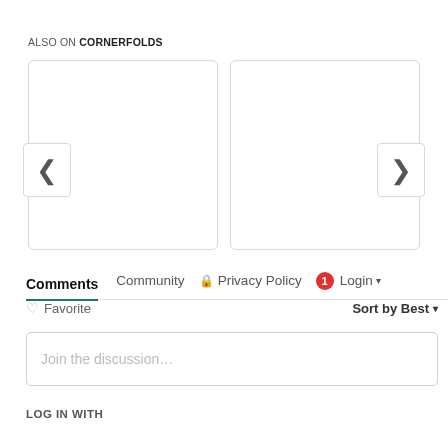ALSO ON CORNERFOLDS
[Figure (screenshot): Two white rounded-rectangle cards side by side with left and right chevron navigation arrows.]
Comments | Community | Privacy Policy | 1 | Login
Favorite | Sort by Best
Join the discussion…
LOG IN WITH